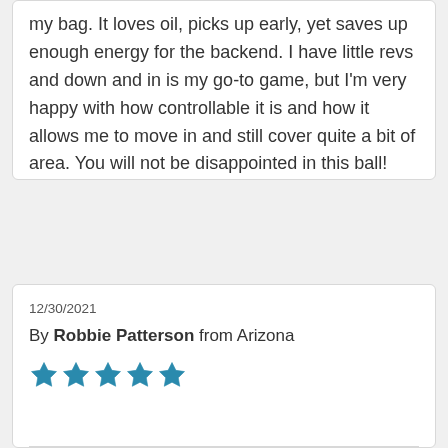my bag. It loves oil, picks up early, yet saves up enough energy for the backend. I have little revs and down and in is my go-to game, but I'm very happy with how controllable it is and how it allows me to move in and still cover quite a bit of area. You will not be disappointed in this ball!
12/30/2021
By Robbie Patterson from Arizona
[Figure (other): Five filled teal/blue stars representing a 5-star rating]